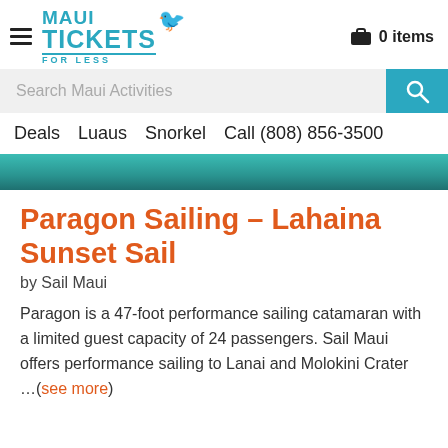Maui Tickets For Less — 0 items
Search Maui Activities
Deals   Luaus   Snorkel   Call (808) 856-3500
[Figure (photo): Teal/turquoise ocean water hero image strip]
Paragon Sailing – Lahaina Sunset Sail
by Sail Maui
Paragon is a 47-foot performance sailing catamaran with a limited guest capacity of 24 passengers. Sail Maui offers performance sailing to Lanai and Molokini Crater …(see more)